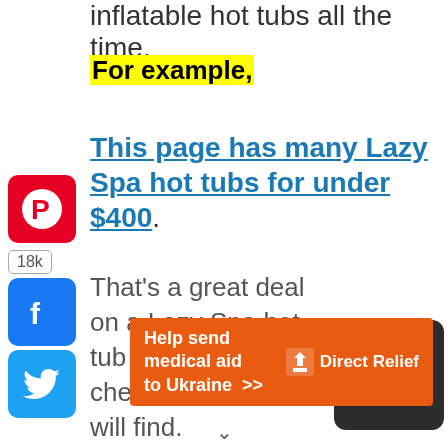inflatable hot tubs all the time.
For example,
This page has many Lazy Spa hot tubs for under $400.
That's a great deal on a Lazy Spa hot tub – probably the cheapest price you will find.
[Figure (infographic): Direct Relief ad banner: orange background, white text 'Help send medical aid to Ukraine >>', Direct Relief logo on right]
v